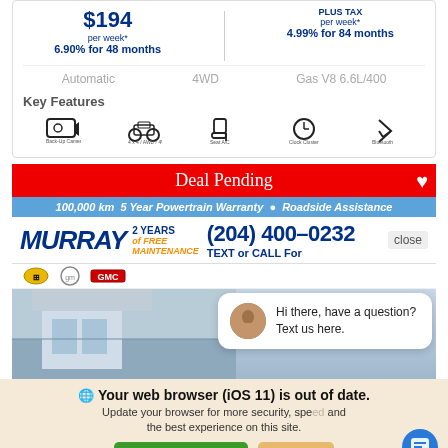$194 per week*
6.90% for 48 months
PLUS TAX per week*
4.99% for 84 months
Automatic   4WD   Gas V8 6.6L/400
Key Features
[Figure (infographic): Key feature icons: Back-Up Camera, 4-Wheel Drive, Seat, Clock/Timer, Bluetooth]
Deal Pending
100,000 km 5 Year Powertrain Warranty • Roadside Assistance
MURRAY 2 YEARS of FREE MAINTENANCE (204) 400-0232 TEXT or CALL For close
[Figure (photo): Dealership building exterior (Murray GMC Chevrolet)]
Hi there, have a question? Text us here.
🌐 Your web browser (iOS 11) is out of date.
Update your browser for more security, speed and the best experience on this site.
Update browser   Ignore